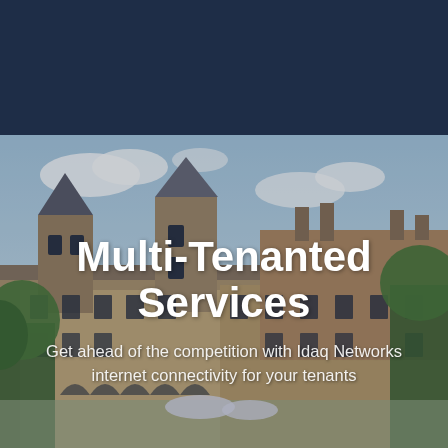[Figure (logo): Sheffield Free WiFi logo: WiFi arc signal icon in white and orange on dark navy background, with text SHEFFIELD FREE WIFI below]
[Figure (photo): Photograph of a large Victorian-era stone building (Sheffield Town Hall / Peace Gardens area) with towers, ornate architecture, blue sky with clouds, and green trees in the foreground]
Multi-Tenanted Services
Get ahead of the competition with Idaq Networks internet connectivity for your tenants